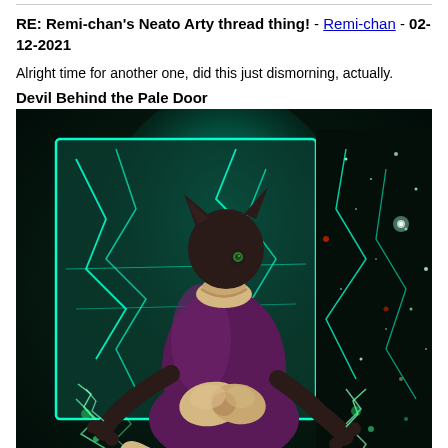RE: Remi-chan's Neato Arty thread thing! - Remi-chan - 02-12-2021
Alright time for another one, did this just dismorning, actually.
Devil Behind the Pale Door
[Figure (illustration): Digital illustration of an anthropomorphic black cat character wearing a purple dress with a cream bow at the back, viewed from behind, facing a glowing cyan geometric portal/door against a dark starry space background with lightning effects.]